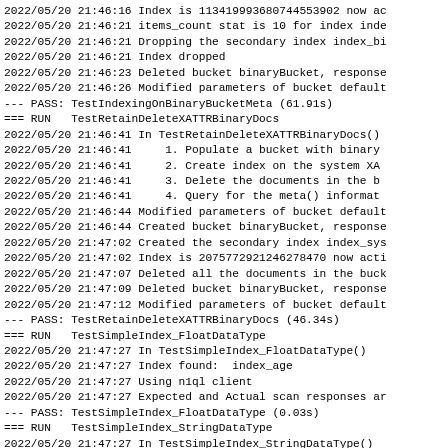2022/05/20 21:46:16 Index is 113419993680744553902 now ac
2022/05/20 21:46:21 items_count stat is 10 for index inde
2022/05/20 21:46:21 Dropping the secondary index index_bi
2022/05/20 21:46:21 Index dropped
2022/05/20 21:46:23 Deleted bucket binaryBucket, response
2022/05/20 21:46:26 Modified parameters of bucket default
--- PASS: TestIndexingOnBinaryBucketMeta (61.91s)
=== RUN   TestRetainDeleteXATTRBinaryDocs
2022/05/20 21:46:41 In TestRetainDeleteXATTRBinaryDocs()
2022/05/20 21:46:41     1. Populate a bucket with binary
2022/05/20 21:46:41     2. Create index on the system XA
2022/05/20 21:46:41     3. Delete the documents in the b
2022/05/20 21:46:41     4. Query for the meta() informat
2022/05/20 21:46:44 Modified parameters of bucket default
2022/05/20 21:46:44 Created bucket binaryBucket, response
2022/05/20 21:47:02 Created the secondary index index_sys
2022/05/20 21:47:02 Index is 2075772921246278470 now acti
2022/05/20 21:47:07 Deleted all the documents in the buck
2022/05/20 21:47:09 Deleted bucket binaryBucket, response
2022/05/20 21:47:12 Modified parameters of bucket default
--- PASS: TestRetainDeleteXATTRBinaryDocs (46.34s)
=== RUN   TestSimpleIndex_FloatDataType
2022/05/20 21:47:27 In TestSimpleIndex_FloatDataType()
2022/05/20 21:47:27 Index found:  index_age
2022/05/20 21:47:27 Using n1ql client
2022/05/20 21:47:27 Expected and Actual scan responses ar
--- PASS: TestSimpleIndex_FloatDataType (0.03s)
=== RUN   TestSimpleIndex_StringDataType
2022/05/20 21:47:27 In TestSimpleIndex_StringDataType()
2022/05/20 21:48:28 Created the secondary index index_con
2022/05/20 21:48:28 Index is 9030007250055540700...